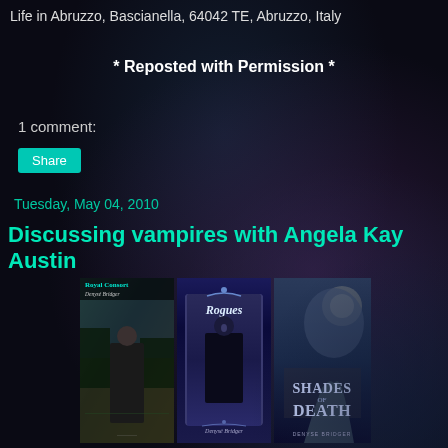Life in Abruzzo, Bascianella, 64042 TE, Abruzzo, Italy
* Reposted with Permission *
1 comment:
Share
Tuesday, May 04, 2010
Discussing vampires with Angela Kay Austin
[Figure (photo): Three book covers side by side: 'Royal Consort' by Denysé Bridger, 'Rogues' by Denysé Bridger, and 'Shades of Death' by Denyse Bridger]